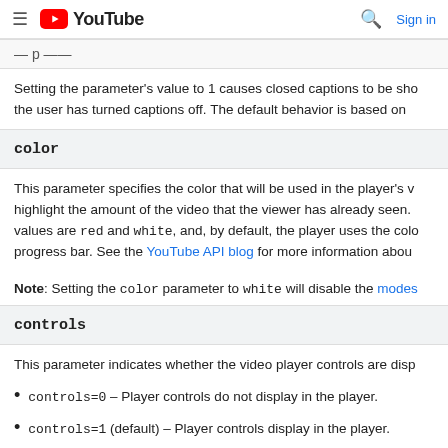YouTube
Setting the parameter's value to 1 causes closed captions to be shown by default, even if the user has turned captions off. The default behavior is based on
color
This parameter specifies the color that will be used in the player's video progress bar to highlight the amount of the video that the viewer has already seen. Valid parameter values are red and white, and, by default, the player uses the color red in the video progress bar. See the YouTube API blog for more information about
Note: Setting the color parameter to white will disable the modes
controls
This parameter indicates whether the video player controls are disp
controls=0 – Player controls do not display in the player.
controls=1 (default) – Player controls display in the player.